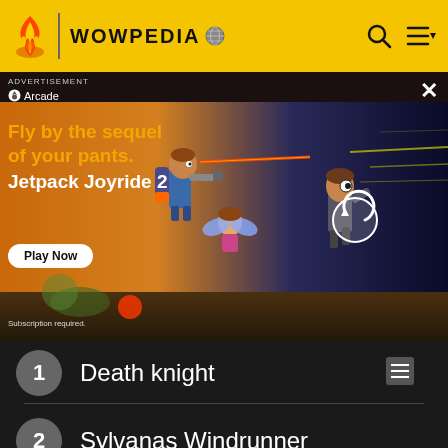WOWPEDIA
[Figure (screenshot): Advertisement banner for Jetpack Joyride 2 on Apple Arcade showing animated characters flying with jetpacks. Text reads: ADVERTISEMENT, Apple Arcade, Fly by the sequel of your pants. Jetpack Joyride 2, Play Now button, Subscription required.]
1  Death knight
2  Sylvanas Windrunner
3  Arthas Menethil
[Figure (screenshot): Bottom thumbnail strip partially visible]